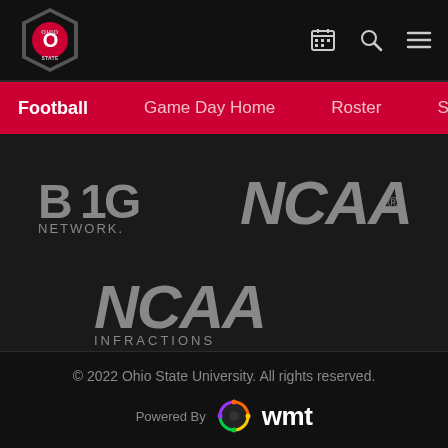Ohio State Athletics — Football navigation header
Football   Game Day Home   Roster   Schedule
[Figure (logo): B1G Network logo in gray on dark background]
[Figure (logo): NCAA logo in gray on dark background]
[Figure (logo): NCAA Infractions logo in gray on dark background]
© 2022 Ohio State University. All rights reserved. Powered By wmt